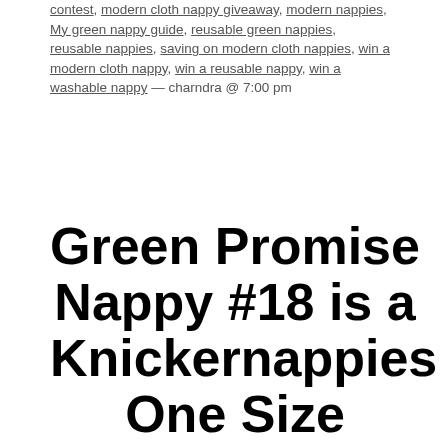contest, modern cloth nappy giveaway, modern nappies, My green nappy guide, reusable green nappies, reusable nappies, saving on modern cloth nappies, win a modern cloth nappy, win a reusable nappy, win a washable nappy — charndra @ 7:00 pm
Green Promise Nappy #18 is a Knickernappies One Size